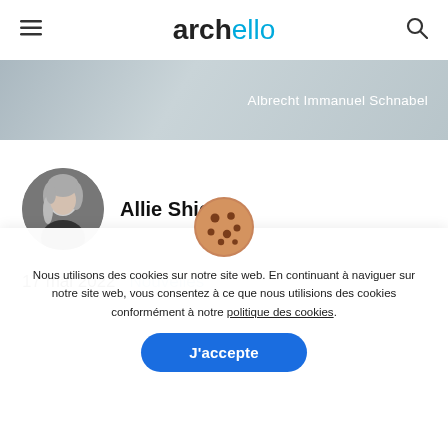archello
Albrecht Immanuel Schnabel
[Figure (photo): Black and white portrait photo of Allie Shiell]
Allie Shiell
17 mai 2022  Nouvelles
[Figure (illustration): Cookie consent icon - cookie emoji illustration]
Nous utilisons des cookies sur notre site web. En continuant à naviguer sur notre site web, vous consentez à ce que nous utilisions des cookies conformément à notre politique des cookies.
J'accepte